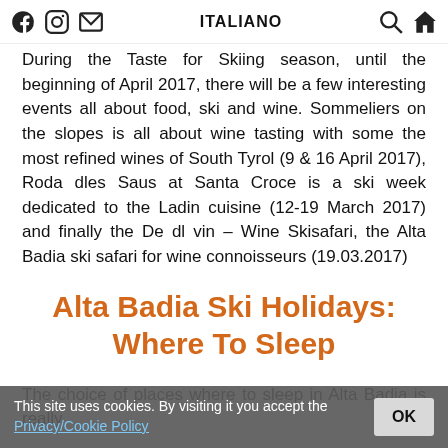ITALIANO
During the Taste for Skiing season, until the beginning of April 2017, there will be a few interesting events all about food, ski and wine. Sommeliers on the slopes is all about wine tasting with some the most refined wines of South Tyrol (9 & 16 April 2017), Roda dles Saus at Santa Croce is a ski week dedicated to the Ladin cuisine (12-19 March 2017) and finally the De dl vin – Wine Skisafari, the Alta Badia ski safari for wine connoisseurs (19.03.2017)
Alta Badia Ski Holidays: Where To Sleep
The choice of places where to sleep in Alta Badia is really
This site uses cookies. By visiting it you accept the Privacy/Cookie Policy